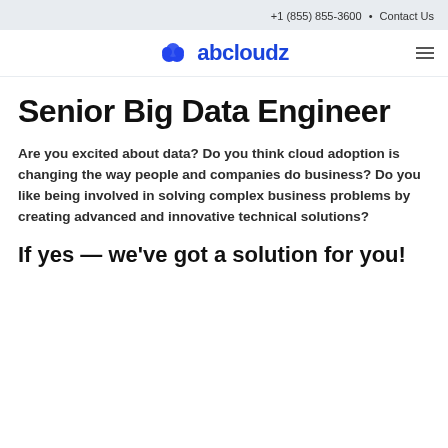+1 (855) 855-3600 • Contact Us
[Figure (logo): abcloudz logo with blue cloud icon and blue text 'abcloudz']
Senior Big Data Engineer
Are you excited about data? Do you think cloud adoption is changing the way people and companies do business? Do you like being involved in solving complex business problems by creating advanced and innovative technical solutions?
If yes — we've got a solution for you!